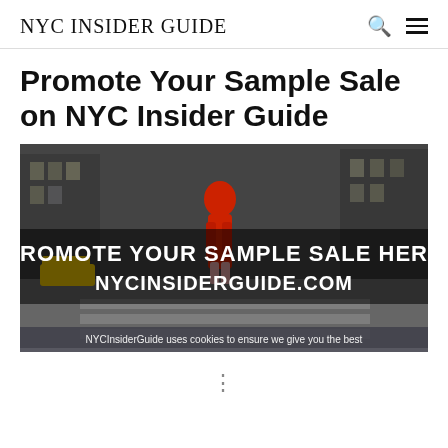NYC INSIDER GUIDE
Promote Your Sample Sale on NYC Insider Guide
[Figure (photo): A woman in a red dress and sunglasses crossing a NYC street, with bold white text overlay reading 'PROMOTE YOUR SAMPLE SALE HERE NYCINSIDERGUIDE.COM']
NYCInsiderGuide uses cookies to ensure we give you the best